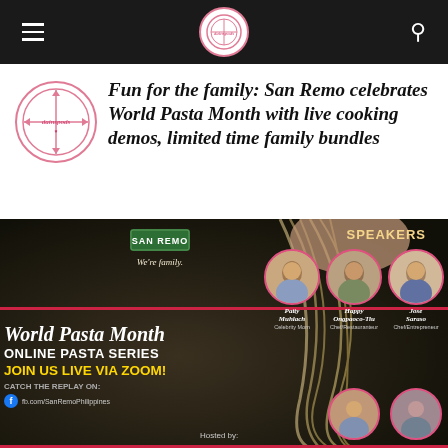Navigation bar with hamburger menu, logo, and search icon
[Figure (logo): Dainspods circular logo with pink accents]
Fun for the family: San Remo celebrates World Pasta Month with live cooking demos, limited time family bundles
[Figure (photo): San Remo World Pasta Month Online Pasta Series promotional banner with pasta image, speakers section showing Patty Muhlach (Celebrity Mom), Happy Ongpaoco-Tiu (Chef/Restauranteur), Jose Saraso (Chef/Entrepreneur), and two more speakers. Text: World Pasta Month ONLINE PASTA SERIES, JOIN US LIVE VIA ZOOM!, CATCH THE REPLAY ON:, Hosted by:]